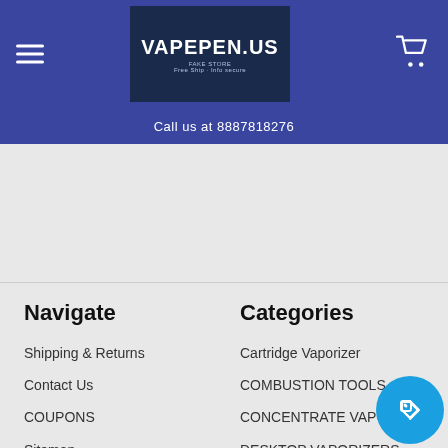VAPEPEN.US — Call us at 8887818276
Navigate
Shipping & Returns
Contact Us
COUPONS
Sitemap
Categories
Cartridge Vaporizer
COMBUSTION TOOLS
CONCENTRATE VAPORIZERS
DESKTOP VAPORIZERS
DRY HERB VAPORIZ…